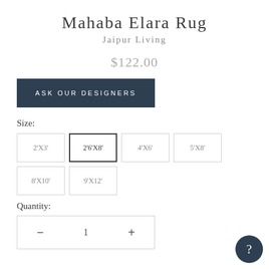Mahaba Elara Rug
Jaipur Living
$122.00
ASK OUR DESIGNERS
Size:
2'X3'
2'6'X8'
4'X6'
5'X8'
8'X10'
9'X12'
Quantity:
— 1 +